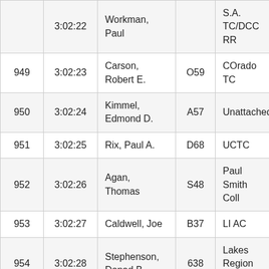|  | 3:02:22 | Workman, Paul |  | S.A. TC/DCC RR |
| 949 | 3:02:23 | Carson, Robert E. | O59 | COrado TC |
| 950 | 3:02:24 | Kimmel, Edmond D. | A57 | Unattached |
| 951 | 3:02:25 | Rix, Paul A. | D68 | UCTC |
| 952 | 3:02:26 | Agan, Thomas | S48 | Paul Smith Coll |
| 953 | 3:02:27 | Caldwell, Joe | B37 | LI AC |
| 954 | 3:02:28 | Stephenson, Donad B. | 638 | Lakes Region TC |